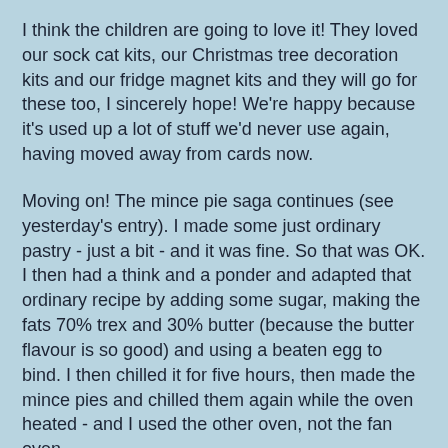I think the children are going to love it!  They loved our sock cat kits, our Christmas tree decoration kits and our fridge magnet kits and they will go for these too, I sincerely hope!  We're happy because it's used up a lot of stuff we'd never use again, having moved away from cards now.
Moving on!  The mince pie saga continues (see yesterday's entry).  I made some just ordinary pastry - just a bit - and it was fine.  So that was OK.  I then had a think and a ponder and adapted that ordinary recipe by adding some sugar, making the fats 70% trex and 30% butter (because the butter flavour is so good) and using a beaten egg to bind.  I then chilled it for five hours, then made the mince pies and chilled them again while the oven heated - and I used the other oven, not the fan oven.
You know what - it only went and worked, despite me letting them cook a bit too long (what a wally!).  Lovely short, melt-in-the-mouth pastry.  So tomorrow I shall be making the Christmas mince pies (again!) because today's effort, being a trial, only made a few pies and by the end of tomorrow